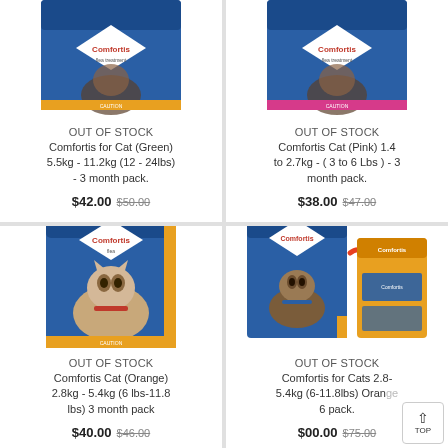[Figure (photo): Comfortis for Cat Green 5.5kg-11.2kg product package photo (partially visible at top)]
OUT OF STOCK
Comfortis for Cat (Green) 5.5kg - 11.2kg (12 - 24lbs) - 3 month pack.
$42.00 $50.00
[Figure (photo): Comfortis Cat Pink 1.4 to 2.7kg product package photo (partially visible at top)]
OUT OF STOCK
Comfortis Cat (Pink) 1.4 to 2.7kg - ( 3 to 6 Lbs ) - 3 month pack.
$38.00 $47.00
[Figure (photo): Comfortis Cat Orange 2.8kg-5.4kg product package showing blue box with siamese cat]
OUT OF STOCK
Comfortis Cat (Orange) 2.8kg - 5.4kg (6 lbs-11.8 lbs) 3 month pack
$40.00 $46.00
[Figure (photo): Comfortis for Cats 2.8-5.4kg Orange 6 pack product showing blue box with dog and orange box]
OUT OF STOCK
Comfortis for Cats 2.8-5.4kg (6-11.8lbs) Orange 6 pack.
$00.00 $75.00